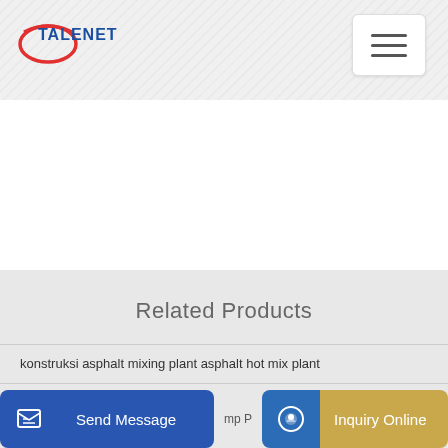[Figure (logo): TALENET logo with red oval and blue text]
Related Products
konstruksi asphalt mixing plant asphalt hot mix plant
Concrete Pump Truck 37m42m45m48m52m56m from China
Send Message
Inquiry Online